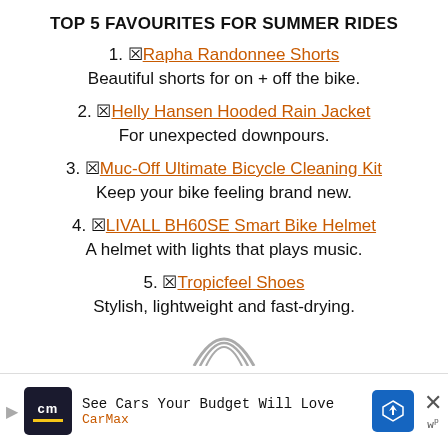TOP 5 FAVOURITES FOR SUMMER RIDES
1. 🔗 Rapha Randonnee Shorts
Beautiful shorts for on + off the bike.
2. 🔗 Helly Hansen Hooded Rain Jacket
For unexpected downpours.
3. 🔗 Muc-Off Ultimate Bicycle Cleaning Kit
Keep your bike feeling brand new.
4. 🔗 LIVALL BH60SE Smart Bike Helmet
A helmet with lights that plays music.
5. 🔗 Tropicfeel Shoes
Stylish, lightweight and fast-drying.
[Figure (other): Partial rainbow arc graphic]
[Figure (other): CarMax advertisement banner: See Cars Your Budget Will Love]